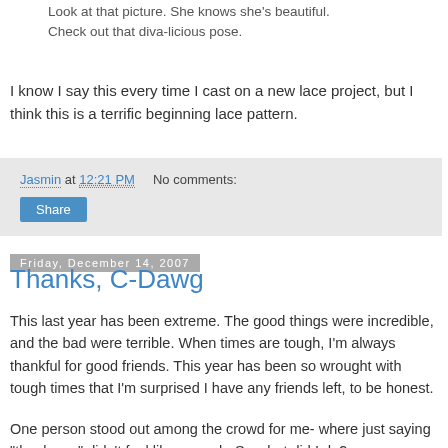Look at that picture. She knows she's beautiful. Check out that diva-licious pose.
I know I say this every time I cast on a new lace project, but I think this is a terrific beginning lace pattern.
Jasmin at 12:21 PM    No comments:
Share
Friday, December 14, 2007
Thanks, C-Dawg
This last year has been extreme. The good things were incredible, and the bad were terrible. When times are tough, I'm always thankful for good friends. This year has been so wrought with tough times that I'm surprised I have any friends left, to be honest.
One person stood out among the crowd for me- where just saying "thank you" didn't feel like enough. So what did I do?